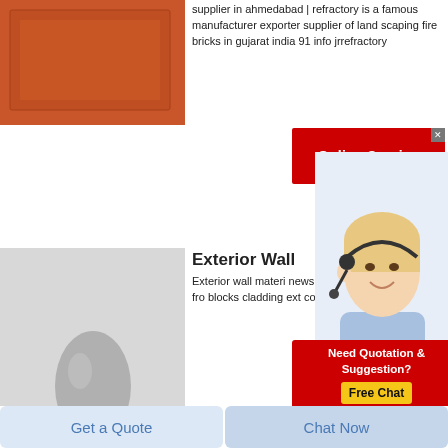[Figure (photo): Orange/brown fire brick product photo]
supplier in ahmedabad | refractory is a famous manufacturer exporter supplier of land scaping fire bricks in gujarat india 91 info jrrefractory
[Figure (infographic): Red Online Service banner with white text]
[Figure (photo): Rongzheng branded gray powder egg-shaped product on white background]
Exterior Wall
Exterior wall material news and videos from blocks cladding ext coatings
[Figure (photo): Customer service representative woman with headset]
[Figure (infographic): Need Quotation & Suggestion? Free Chat red banner]
[Figure (photo): Rongzheng branded multiple gray powder egg-shaped products]
Stainless Steel Doors
Sep 17 2021  sportpesa kenya login jeep wrangler t shirts what time are bars open till in nyc covid best beaches in north cyprus colloquial scottish gaelic the complete course
Get a Quote    Chat Now